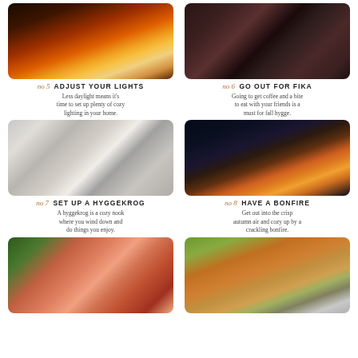[Figure (photo): Cozy fireplace with candles and warm glowing fire]
[Figure (photo): People holding coffee cups at a table with candles]
no 5 ADJUST YOUR LIGHTS - Less daylight means it's time to set up plenty of cozy lighting in your home.
no 6 GO OUT FOR FIKA - Going to get coffee and a bite to eat with your friends is a must for fall hygge.
[Figure (photo): Cozy window seat with pink pillow, tray with candle and cup]
[Figure (photo): Group of people gathered around a large campfire at night]
no 7 SET UP A HYGGEKROG - A hyggekrog is a cozy nook where you wind down and do things you enjoy.
no 8 HAVE A BONFIRE - Get out into the crisp autumn air and cozy up by a crackling bonfire.
[Figure (photo): Child with pumpkins in autumn outdoor setting]
[Figure (photo): Winding road through colorful autumn foliage forest]